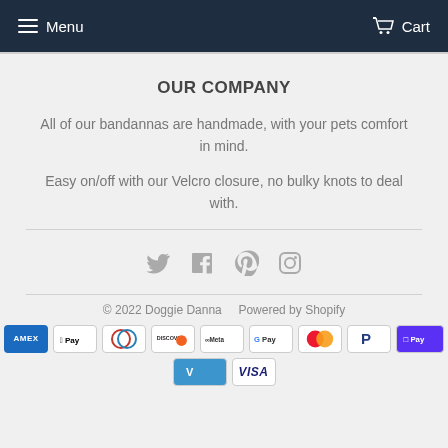Menu   Cart
OUR COMPANY
All of our bandannas are handmade, with your pets comfort in mind.
Easy on/off with our Velcro closure, no bulky knots to deal with.
[Figure (other): Social media icons: Twitter, Facebook, Pinterest, Instagram]
© 2022 Doggie Danna   Powered by Shopify
[Figure (other): Payment method badges: Amex, Apple Pay, Diners, Discover, Meta, Google Pay, Mastercard, PayPal, Shop Pay, Venmo, Visa]